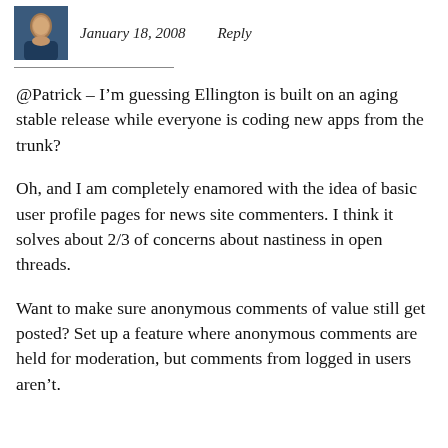[Figure (photo): Small avatar photo of a person in a blue outfit]
January 18, 2008    Reply
@Patrick – I'm guessing Ellington is built on an aging stable release while everyone is coding new apps from the trunk?
Oh, and I am completely enamored with the idea of basic user profile pages for news site commenters. I think it solves about 2/3 of concerns about nastiness in open threads.
Want to make sure anonymous comments of value still get posted? Set up a feature where anonymous comments are held for moderation, but comments from logged in users aren't.